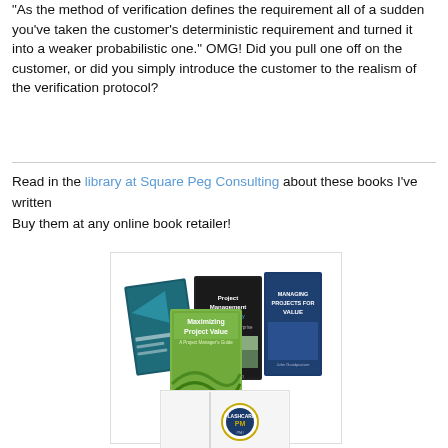"As the method of verification defines the requirement all of a sudden you've taken the customer's deterministic requirement and turned it into a weaker probabilistic one." OMG! Did you pull one off on the customer, or did you simply introduce the customer to the realism of the verification protocol?
Read in the library at Square Peg Consulting about these books I've written
Buy them at any online book retailer!
[Figure (photo): A collection of book covers including 'Maximizing Project Value: A Project Manager's Guide', 'Project Management the Agile Way', 'Managing Projects for Value', and other project management books arranged in a display.]
[Figure (photo): Bottom portion of a book or flash card product with a PMI Flashcard logo badge visible.]